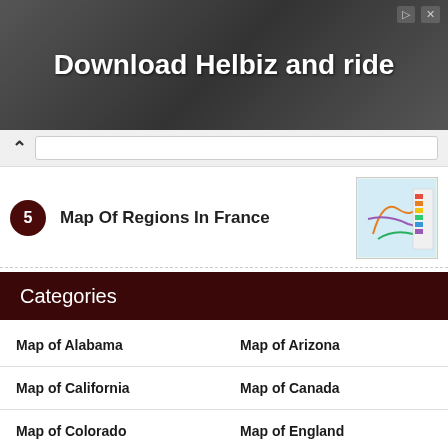[Figure (photo): Advertisement banner with dark background showing a person with camera equipment. Text reads 'Download Helbiz and ride']
5 Map Of Regions In France
Categories
Map of Alabama
Map of Arizona
Map of California
Map of Canada
Map of Colorado
Map of England
Map of Europe
Map of France
Map of Georgia
Map of Ireland
Map of Italy
Map of Michigan